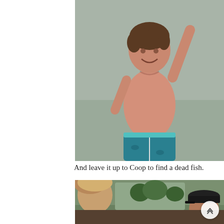[Figure (photo): A shirtless boy with curly wet hair smiling, wearing teal swim trunks, holding something up in his right hand, standing outdoors near water.]
And leave it up to Coop to find a dead fish.
[Figure (photo): Interior of a car showing the back of a woman's head on the left and a man wearing a black cap on the right, with trees visible through the window.]